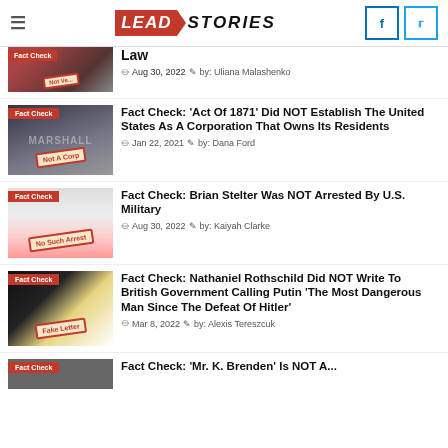LEAD STORIES
Law
Aug 30, 2022  by: Uliana Malashenko
[Figure (screenshot): Fact Check thumbnail with 'Not A Corp' stamp and MARSHALL building]
Fact Check: 'Act Of 1871' Did NOT Establish The United States As A Corporation That Owns Its Residents
Jan 22, 2021  by: Dana Ford
[Figure (screenshot): Fact Check thumbnail with 'No Such Arrest' stamp]
Fact Check: Brian Stelter Was NOT Arrested By U.S. Military
Aug 30, 2022  by: Kaiyah Clarke
[Figure (screenshot): Fact Check thumbnail with 'Fake Letter' stamp]
Fact Check: Nathaniel Rothschild Did NOT Write To British Government Calling Putin 'The Most Dangerous Man Since The Defeat Of Hitler'
Mar 8, 2022  by: Alexis Tereszcuk
[Figure (screenshot): Fact Check thumbnail - partially visible]
Fact Check: 'Mr. K. Brenden' Is NOT A...